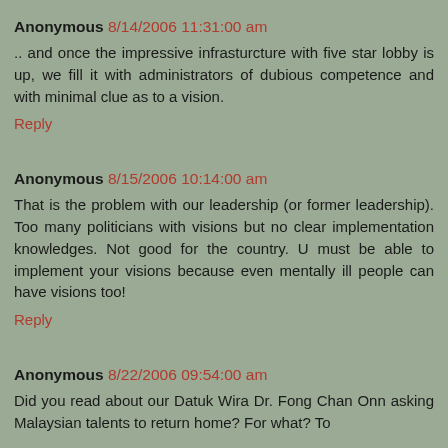Anonymous 8/14/2006 11:31:00 am
.. and once the impressive infrasturcture with five star lobby is up, we fill it with administrators of dubious competence and with minimal clue as to a vision.
Reply
Anonymous 8/15/2006 10:14:00 am
That is the problem with our leadership (or former leadership). Too many politicians with visions but no clear implementation knowledges. Not good for the country. U must be able to implement your visions because even mentally ill people can have visions too!
Reply
Anonymous 8/22/2006 09:54:00 am
Did you read about our Datuk Wira Dr. Fong Chan Onn asking Malaysian talents to return home? For what? To